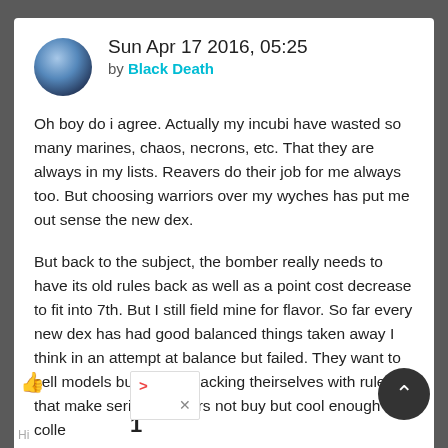Sun Apr 17 2016, 05:25 by Black Death
Oh boy do i agree. Actually my incubi have wasted so many marines, chaos, necrons, etc. That they are always in my lists. Reavers do their job for me always too. But choosing warriors over my wyches has put me out sense the new dex.
But back to the subject, the bomber really needs to have its old rules back as well as a point cost decrease to fit into 7th. But I still field mine for flavor. So far every new dex has had good balanced things taken away I think in an attempt at balance but failed. They want to sell models but keep smacking theirselves with rules that make serious players not buy but cool enough for colle...